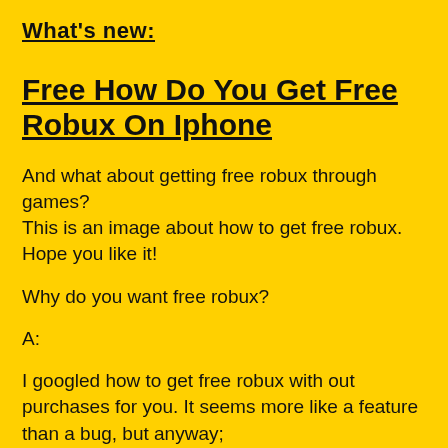What's new:
Free How Do You Get Free Robux On Iphone
And what about getting free robux through games? This is an image about how to get free robux. Hope you like it!
Why do you want free robux?
A:
I googled how to get free robux with out purchases for you. It seems more like a feature than a bug, but anyway; the bot was not in a game to get free robux.